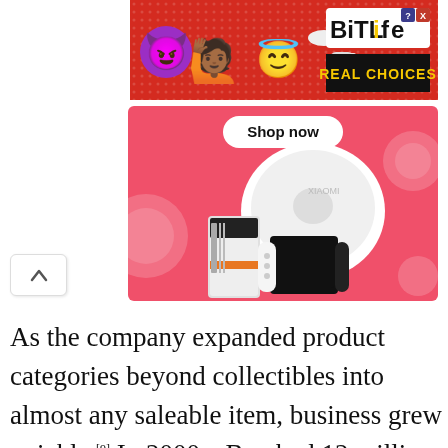[Figure (screenshot): BitLife app advertisement banner with red background, devil and angel emojis, 'REAL CHOICES' tagline]
[Figure (screenshot): Pink 'Shop now' advertisement banner showing consumer electronics: a robot vacuum cleaner, Xbox console, Nintendo Switch OLED, and a smartphone]
As the company expanded product categories beyond collectibles into almost any saleable item, business grew quickly.[9] In 2000, eBay had 12 million registered users and a